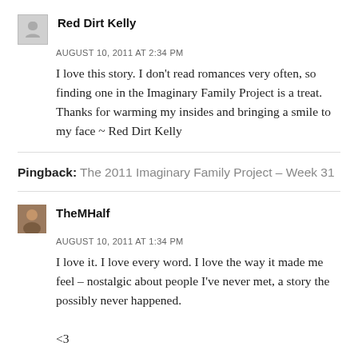Red Dirt Kelly
AUGUST 10, 2011 AT 2:34 PM
I love this story. I don't read romances very often, so finding one in the Imaginary Family Project is a treat. Thanks for warming my insides and bringing a smile to my face ~ Red Dirt Kelly
Pingback: The 2011 Imaginary Family Project – Week 31
TheMHalf
AUGUST 10, 2011 AT 1:34 PM
I love it. I love every word. I love the way it made me feel – nostalgic about people I've never met, a story the possibly never happened.
<3